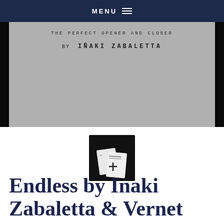MENU ≡
[Figure (photo): A grey book/pamphlet cover showing the text 'THE PERFECT OPENER AND CLOSER' and 'BY IÑAKI ZABALETTA' on a dark background]
[Figure (photo): Small thumbnail image showing magic cards/booklets on a dark background]
Endless by Inaki Zabaletta & Vernet